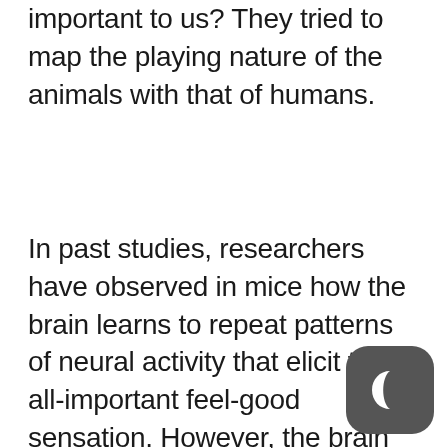important to us? They tried to map the playing nature of the animals with that of humans.
In past studies, researchers have observed in mice how the brain learns to repeat patterns of neural activity that elicit the all-important feel-good sensation. However, the brain mechanisms that guide this type of learning have not been measured directly. Researchers at Columbia University's Zuckerman Institute, the Champalimaud Centre for the Unknown, and the University of California at Berkeley came together to